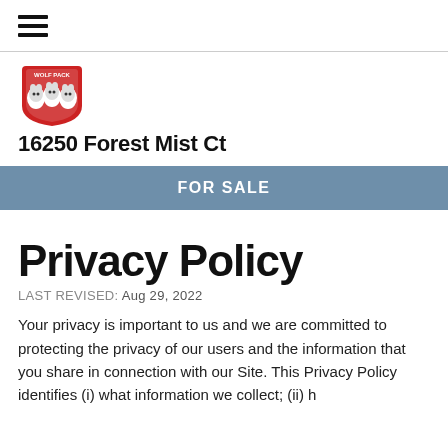≡ (hamburger navigation menu)
[Figure (logo): Wolf Pack logo — red shield badge with three wolves]
16250 Forest Mist Ct
FOR SALE
Privacy Policy
LAST REVISED: Aug 29, 2022
Your privacy is important to us and we are committed to protecting the privacy of our users and the information that you share in connection with our Site. This Privacy Policy identifies (i) what information we collect; (ii) h...